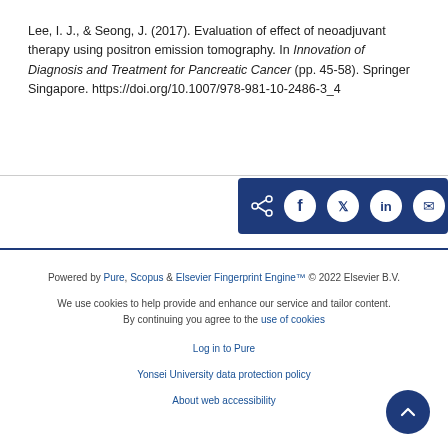Lee, I. J., & Seong, J. (2017). Evaluation of effect of neoadjuvant therapy using positron emission tomography. In Innovation of Diagnosis and Treatment for Pancreatic Cancer (pp. 45-58). Springer Singapore. https://doi.org/10.1007/978-981-10-2486-3_4
[Figure (other): Social share buttons bar with icons for share, Facebook, Twitter, LinkedIn, and email on a dark navy blue background]
Powered by Pure, Scopus & Elsevier Fingerprint Engine™ © 2022 Elsevier B.V.
We use cookies to help provide and enhance our service and tailor content. By continuing you agree to the use of cookies
Log in to Pure
Yonsei University data protection policy
About web accessibility